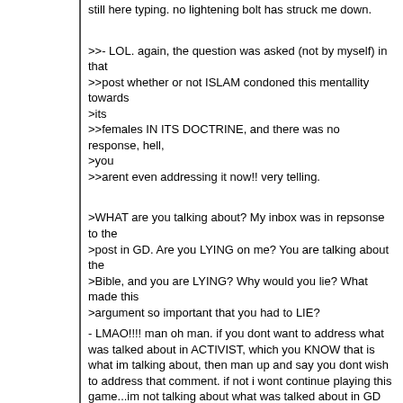still here typing. no lightening bolt has struck me down.
>>- LOL. again, the question was asked (not by myself) in that
>>post whether or not ISLAM condoned this mentallity towards
>its
>>females IN ITS DOCTRINE, and there was no response, hell,
>you
>>arent even addressing it now!! very telling.
>WHAT are you talking about? My inbox was in repsonse to the
>post in GD. Are you LYING on me? You are talking about the
>Bible, and you are LYING? Why would you lie? What made this
>argument so important that you had to LIE?
- LMAO!!!! man oh man. if you dont want to address what was talked about in ACTIVIST, which you KNOW that is what im talking about, then man up and say you dont wish to address that comment. if not i wont continue playing this game...im not talking about what was talked about in GD in talking about what was talked about here...